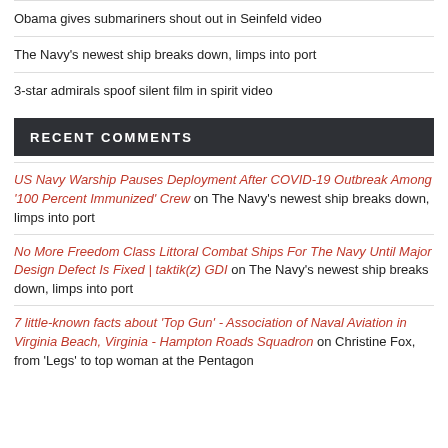Obama gives submariners shout out in Seinfeld video
The Navy's newest ship breaks down, limps into port
3-star admirals spoof silent film in spirit video
RECENT COMMENTS
US Navy Warship Pauses Deployment After COVID-19 Outbreak Among '100 Percent Immunized' Crew on The Navy's newest ship breaks down, limps into port
No More Freedom Class Littoral Combat Ships For The Navy Until Major Design Defect Is Fixed | taktik(z) GDI on The Navy's newest ship breaks down, limps into port
7 little-known facts about 'Top Gun' - Association of Naval Aviation in Virginia Beach, Virginia - Hampton Roads Squadron on Christine Fox, from 'Legs' to top woman at the Pentagon